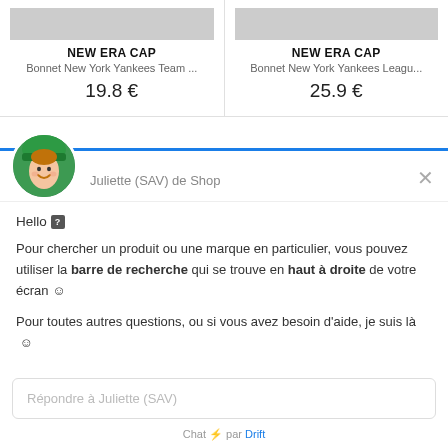NEW ERA CAP – Bonnet New York Yankees Team … – 19.8 €
NEW ERA CAP – Bonnet New York Yankees Leagu… – 25.9 €
Juliette (SAV) de Shop
Hello ?
Pour chercher un produit ou une marque en particulier, vous pouvez utiliser la barre de recherche qui se trouve en haut à droite de votre écran ☺
Pour toutes autres questions, ou si vous avez besoin d'aide, je suis là ☺
Répondre à Juliette (SAV)
Chat ⚡ par Drift